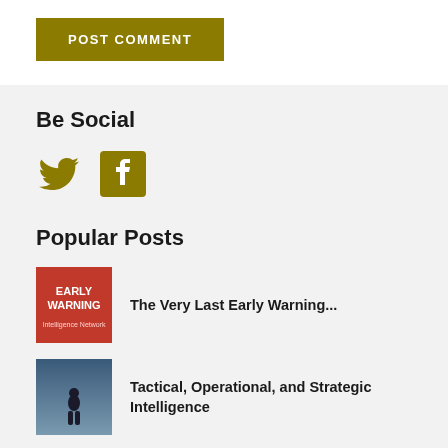[Figure (other): POST COMMENT button in dark olive/gold color]
Be Social
[Figure (other): Twitter bird icon and Facebook F icon in gold/olive color]
Popular Posts
[Figure (other): Thumbnail of Early Warning book cover (red background with text)]
The Very Last Early Warning...
[Figure (other): Thumbnail of tactical/military silhouette image (dark blue sky)]
Tactical, Operational, and Strategic Intelligence
Latest Rec...